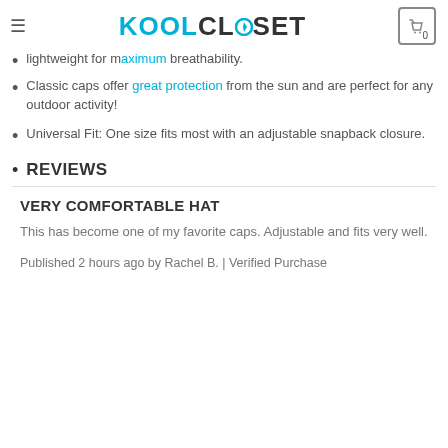KoolCloset
lightweight for maximum breathability.
Classic caps offer great protection from the sun and are perfect for any outdoor activity!
Universal Fit: One size fits most with an adjustable snapback closure.
REVIEWS
VERY COMFORTABLE HAT
This has become one of my favorite caps. Adjustable and fits very well.
Published 2 hours ago by Rachel B. | Verified Purchase